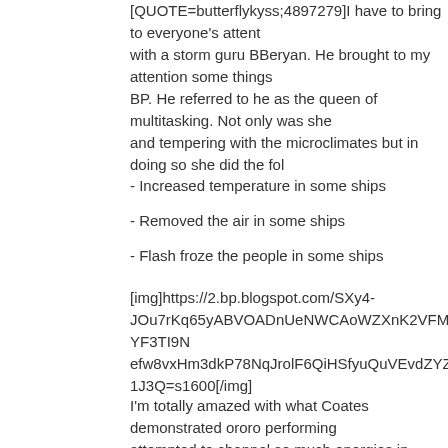[QUOTE=butterflykyss;4897279]I have to bring to everyone's attent with a storm guru BBeryan. He brought to my attention some things BP. He referred to he as the queen of multitasking. Not only was she and tempering with the microclimates but in doing so she did the fol
- Increased temperature in some ships
- Removed the air in some ships
- Flash froze the people in some ships
[img]https://2.bp.blogspot.com/SXy4-JOu7rKq65yABVOADnUeNWCAoWZXnK2VFM9AlVZxLp-YF3TI9N efw8vxHm3dkP78NqJrolF6QiHSfyuQuVEvdZYZ_0a9FCmLVT9eYI 1J3Q=s1600[/img]
I'm totally amazed with what Coates demonstrated ororo performing attempted to channel so much energies in space it nearly killed her. one that is truly awe inspiring![/QUOTE]
Thanks for sharing as I too did not realize the multiple ways she was
I also found the art when Storm initially launches her attack to be aw
[CENTER]
[IMG]https://66.media.tumblr.com/3b37d99bc1b171a22a789e7765c 7a/s500x750/3fc024c6335f5d91674e9478aaf22e0f05cde698.png[/I